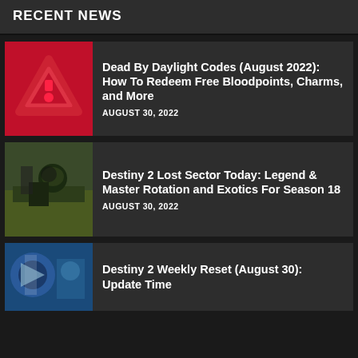RECENT NEWS
Dead By Daylight Codes (August 2022): How To Redeem Free Bloodpoints, Charms, and More
AUGUST 30, 2022
Destiny 2 Lost Sector Today: Legend & Master Rotation and Exotics For Season 18
AUGUST 30, 2022
Destiny 2 Weekly Reset (August 30): Update Time